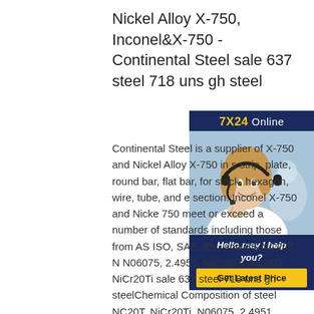Nickel Alloy X-750, Inconel&X-750 - Continental Steel sale 637 steel 718 uns gh steel
[Figure (photo): Chat widget with 7X24 Online header, photo of a smiling woman with headset, Hello may I help you text, and Get Latest Price button]
Continental Steel is a supplier of X-750 and Nickel Alloy X-750 in s strip, plate, round bar, flat bar, for stock, hexagon, wire, tube, and e section. Inconel X-750 and Nicke 750 meet or exceed a number of standards including those from AS ISO, SAE, EN, and BS.NC20T, N N06075, 2.4951, NiCr20Ti, NC20T, NiCr20Ti sale 637 steel 718 uns gh steelChemical Composition of steel NC20T, NiCr20Ti, N06075, 2.4951, NiCr20Ti Superalloys AIR 9165 ,Cross Reference NC20T, NiCr20Ti, N06075,